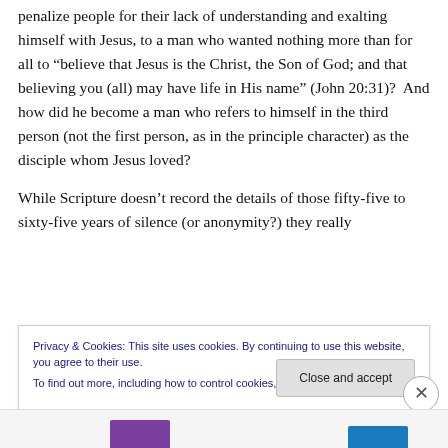penalize people for their lack of understanding and exalting himself with Jesus, to a man who wanted nothing more than for all to “believe that Jesus is the Christ, the Son of God; and that believing you (all) may have life in His name” (John 20:31)?  And how did he become a man who refers to himself in the third person (not the first person, as in the principle character) as the disciple whom Jesus loved?
While Scripture doesn’t record the details of those fifty-five to sixty-five years of silence (or anonymity?) they really
Privacy & Cookies: This site uses cookies. By continuing to use this website, you agree to their use.
To find out more, including how to control cookies, see here: Cookie Policy